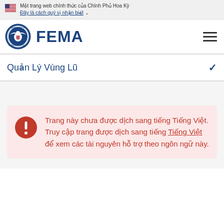Một trang web chính thức của Chính Phủ Hoa Kỳ
Đây là cách quý vị nhận biết
[Figure (logo): FEMA logo with DHS seal and FEMA text in blue]
Quản Lý Vùng Lũ
Trang này chưa được dịch sang tiếng Tiếng Việt. Truy cập trang được dịch sang tiếng Tiếng Việt để xem các tài nguyên hỗ trợ theo ngôn ngữ này.